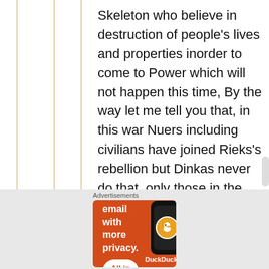Skeleton who believe in destruction of people's lives and properties inorder to come to Power which will not happen this time, By the way let me tell you that, in this war Nuers including civilians have joined Rieks's rebellion but Dinkas never do that, only those in the army are fighting, now if it turn to be Dinkas Civilians started joining to fight like what has started in Uppernile with
Advertisements
[Figure (infographic): DuckDuckGo advertisement banner with orange background. Text reads: Search, browse, and email with more privacy. All in One Free App. Shows a smartphone with DuckDuckGo logo.]